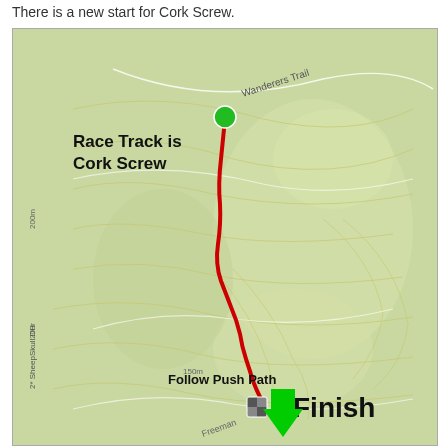There is a new start for Cork Screw.
[Figure (map): Trail map showing Cork Screw race track route. A green dot marks the start at the top, with a red wiggly path descending southward to a checkered finish marker. Text labels show 'Race Track is Cork Screw', 'Finish', 'Follow Push Path', and a green arrow pointing upward toward the finish area. Contour lines and trail names (Wanderers Trail, 2* SheepSkull DH, Freeman) are visible on the topographic map background.]